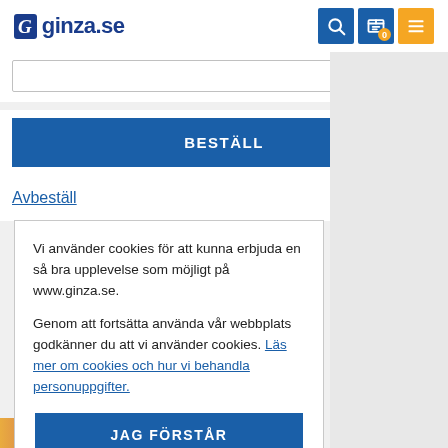ginza.se
BESTÄLL
Avbeställ
Vi använder cookies för att kunna erbjuda en så bra upplevelse som möjligt på www.ginza.se.

Genom att fortsätta använda vår webbplats godkänner du att vi använder cookies. Läs mer om cookies och hur vi behandla personuppgifter.
JAG FÖRSTÅR